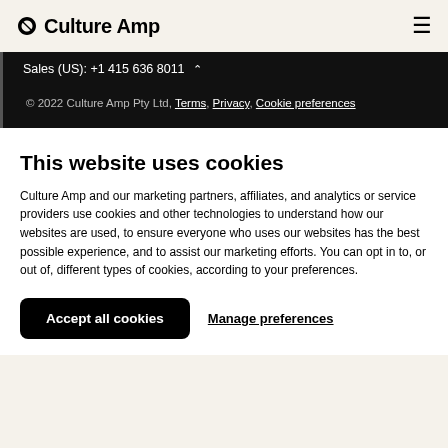Culture Amp
Sales (US): +1 415 636 8011
© 2022 Culture Amp Pty Ltd, Terms, Privacy, Cookie preferences
This website uses cookies
Culture Amp and our marketing partners, affiliates, and analytics or service providers use cookies and other technologies to understand how our websites are used, to ensure everyone who uses our websites has the best possible experience, and to assist our marketing efforts. You can opt in to, or out of, different types of cookies, according to your preferences.
Accept all cookies | Manage preferences